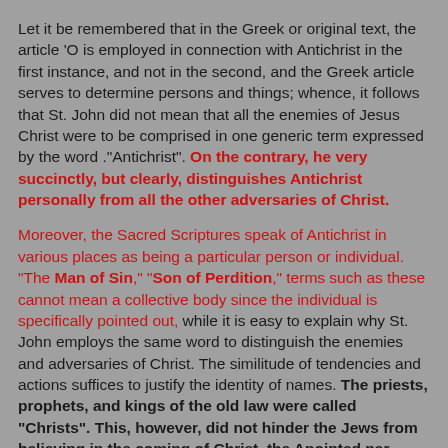Let it be remembered that in the Greek or original text, the article 'O is employed in connection with Antichrist in the first instance, and not in the second, and the Greek article serves to determine persons and things; whence, it follows that St. John did not mean that all the enemies of Jesus Christ were to be comprised in one generic term expressed by the word ."Antichrist". On the contrary, he very succinctly, but clearly, distinguishes Antichrist personally from all the other adversaries of Christ.
Moreover, the Sacred Scriptures speak of Antichrist in various places as being a particular person or individual. "The Man of Sin," "Son of Perdition," terms such as these cannot mean a collective body since the individual is specifically pointed out, while it is easy to explain why St. John employs the same word to distinguish the enemies and adversaries of Christ. The similitude of tendencies and actions suffices to justify the identity of names. The priests, prophets, and kings of the old law were called "Christs". This, however, did not hinder the Jews from believing in the coming of Christ, the Anointed par excellence,